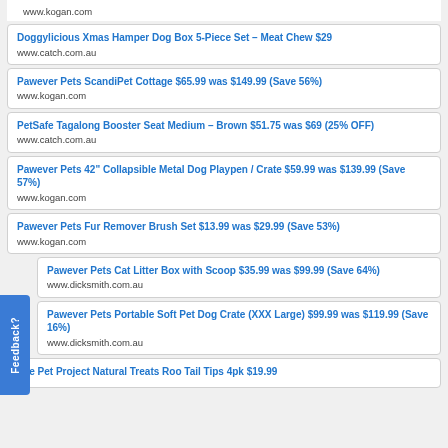www.kogan.com
Doggylicious Xmas Hamper Dog Box 5-Piece Set – Meat Chew $29
www.catch.com.au
Pawever Pets ScandiPet Cottage $65.99 was $149.99 (Save 56%)
www.kogan.com
PetSafe Tagalong Booster Seat Medium – Brown $51.75 was $69 (25% OFF)
www.catch.com.au
Pawever Pets 42" Collapsible Metal Dog Playpen / Crate $59.99 was $139.99 (Save 57%)
www.kogan.com
Pawever Pets Fur Remover Brush Set $13.99 was $29.99 (Save 53%)
www.kogan.com
Pawever Pets Cat Litter Box with Scoop $35.99 was $99.99 (Save 64%)
www.dicksmith.com.au
Pawever Pets Portable Soft Pet Dog Crate (XXX Large) $99.99 was $119.99 (Save 16%)
www.dicksmith.com.au
The Pet Project Natural Treats Roo Tail Tips 4pk $19.99